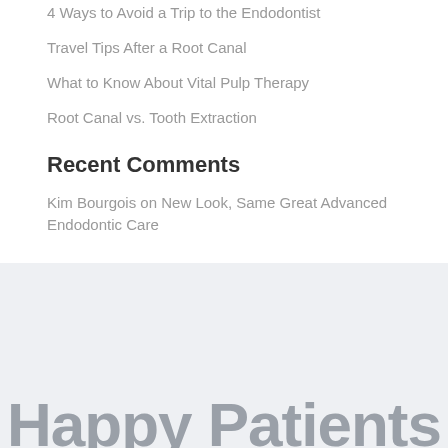4 Ways to Avoid a Trip to the Endodontist
Travel Tips After a Root Canal
What to Know About Vital Pulp Therapy
Root Canal vs. Tooth Extraction
Recent Comments
Kim Bourgois on New Look, Same Great Advanced Endodontic Care
Happy Patients